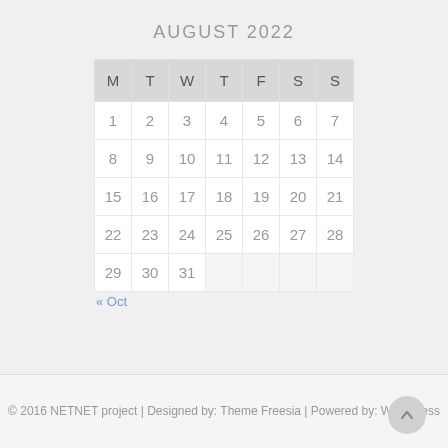AUGUST 2022
| M | T | W | T | F | S | S |
| --- | --- | --- | --- | --- | --- | --- |
| 1 | 2 | 3 | 4 | 5 | 6 | 7 |
| 8 | 9 | 10 | 11 | 12 | 13 | 14 |
| 15 | 16 | 17 | 18 | 19 | 20 | 21 |
| 22 | 23 | 24 | 25 | 26 | 27 | 28 |
| 29 | 30 | 31 |  |  |  |  |
« Oct
© 2016 NETNET project | Designed by: Theme Freesia | Powered by: WordPress